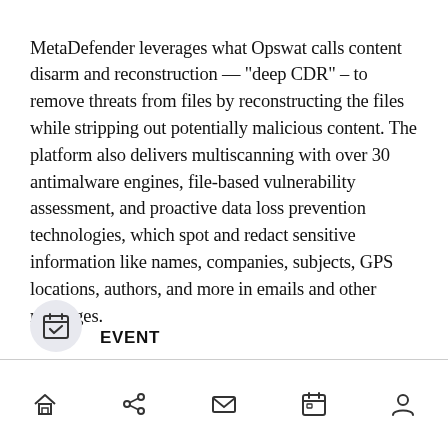MetaDefender leverages what Opswat calls content disarm and reconstruction — "deep CDR" – to remove threats from files by reconstructing the files while stripping out potentially malicious content. The platform also delivers multiscanning with over 30 antimalware engines, file-based vulnerability assessment, and proactive data loss prevention technologies, which spot and redact sensitive information like names, companies, subjects, GPS locations, authors, and more in emails and other messages.
EVENT
[Figure (illustration): Calendar icon with checkmark inside a light gray circle]
Navigation bar with home, share, mail, calendar, and profile icons